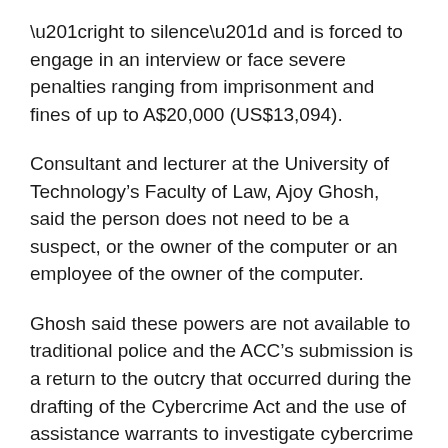“right to silence” and is forced to engage in an interview or face severe penalties ranging from imprisonment and fines of up to A$20,000 (US$13,094).
Consultant and lecturer at the University of Technology’s Faculty of Law, Ajoy Ghosh, said the person does not need to be a suspect, or the owner of the computer or an employee of the owner of the computer.
Ghosh said these powers are not available to traditional police and the ACC’s submission is a return to the outcry that occurred during the drafting of the Cybercrime Act and the use of assistance warrants to investigate cybercrime suspects.
He said the difference here is that it goes beyond